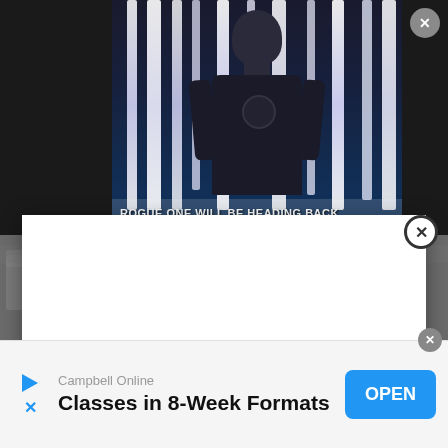[Figure (screenshot): Video thumbnail showing a character from Rogue One Star Wars movie with vertical light bars in background. Text overlay reads 'ROGUE ONE WILL BE HEADING BACK'. Gray close button (X) in top right corner.]
[Figure (screenshot): White modal popup dialog overlaying the page content, with a circular X close button in the top right of the modal.]
[Figure (screenshot): Mobile advertisement banner at bottom of screen for Campbell Online showing text 'Campbell Online' and 'Classes in 8-Week Formats' with a blue OPEN button and a close X button.]